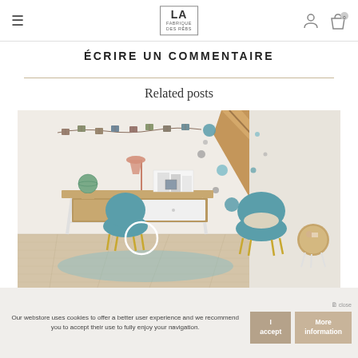LA FABRIQUE DES RÊVES — navigation header with hamburger menu, logo, user icon, and cart icon
ÉCRIRE UN COMMENTAIRE
Related posts
[Figure (photo): Interior room photo showing a wooden desk with teal velvet chairs, photos strung on a banner, a globe, wooden beam staircase, and light wood flooring in a Scandinavian-style children's or teen's room.]
Our webstore uses cookies to offer a better user experience and we recommend you to accept their use to fully enjoy your navigation.